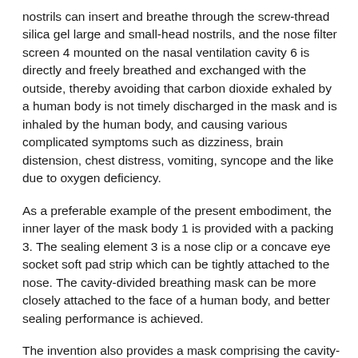nostrils can insert and breathe through the screw-thread silica gel large and small-head nostrils, and the nose filter screen 4 mounted on the nasal ventilation cavity 6 is directly and freely breathed and exchanged with the outside, thereby avoiding that carbon dioxide exhaled by a human body is not timely discharged in the mask and is inhaled by the human body, and causing various complicated symptoms such as dizziness, brain distension, chest distress, vomiting, syncope and the like due to oxygen deficiency.
As a preferable example of the present embodiment, the inner layer of the mask body 1 is provided with a packing 3. The sealing element 3 is a nose clip or a concave eye socket soft pad strip which can be tightly attached to the nose. The cavity-divided breathing mask can be more closely attached to the face of a human body, and better sealing performance is achieved.
The invention also provides a mask comprising the cavity-divided breathing mask. The cavity-divided breathing mask is sewn on the mask at the position corresponding to the mouth and the nose, and the mask with the functional